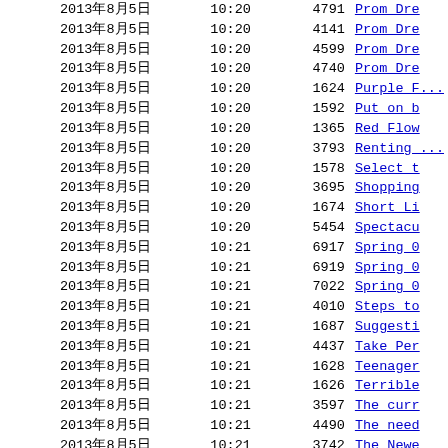| Date | Time | ID | Link |
| --- | --- | --- | --- |
| 2013年8月5日 | 10:20 | 4791 | Prom Dre... |
| 2013年8月5日 | 10:20 | 4141 | Prom Dre... |
| 2013年8月5日 | 10:20 | 4599 | Prom Dre... |
| 2013年8月5日 | 10:20 | 4740 | Prom Dre... |
| 2013年8月5日 | 10:20 | 1624 | Purple F... |
| 2013年8月5日 | 10:20 | 1592 | Put on b... |
| 2013年8月5日 | 10:20 | 1365 | Red Flow... |
| 2013年8月5日 | 10:20 | 3793 | Renting ... |
| 2013年8月5日 | 10:20 | 1578 | Select t... |
| 2013年8月5日 | 10:20 | 3695 | Shopping... |
| 2013年8月5日 | 10:20 | 1674 | Short Li... |
| 2013年8月5日 | 10:20 | 5454 | Spectacu... |
| 2013年8月5日 | 10:21 | 6917 | Spring 0... |
| 2013年8月5日 | 10:21 | 6919 | Spring 0... |
| 2013年8月5日 | 10:21 | 7022 | Spring 0... |
| 2013年8月5日 | 10:21 | 4010 | Steps to... |
| 2013年8月5日 | 10:21 | 1687 | Suggesti... |
| 2013年8月5日 | 10:21 | 4437 | Take Per... |
| 2013年8月5日 | 10:21 | 1628 | Teenager... |
| 2013年8月5日 | 10:21 | 1626 | Terrible... |
| 2013年8月5日 | 10:21 | 3597 | The curr... |
| 2013年8月5日 | 10:21 | 4490 | The need... |
| 2013年8月5日 | 10:21 | 3742 | The Newe... |
| 2013年8月5日 | 10:21 | 3990 | The Pref... |
| 2013年8月5日 | 10:21 | 4196 | The righ... |
| 2013年8月5日 | 10:21 | 3720 | The wedd... |
| 2013年8月5日 | 10:21 | 4662 | The wedd... |
| 2013年8月5日 | 10:21 | 3854 | Tiffany ... |
| 2013年8月5日 | 10:21 | 1395 | Tight Co... |
| 2013年8月5日 | 10:21 | 4840 | Tips On ... |